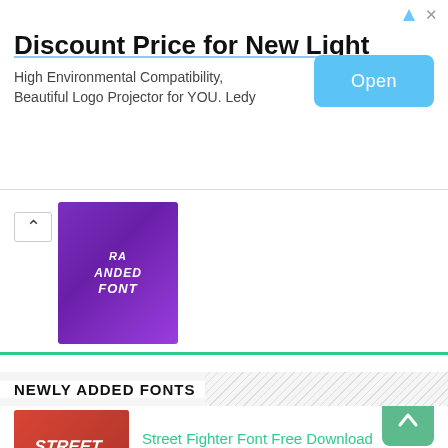[Figure (screenshot): Advertisement banner: 'Discount Price for New Light' with Open button and ad icons]
[Figure (screenshot): Purple thumbnail showing 'EXTRA EXPANDED FONT' text, partially visible with chevron/back button]
NEWLY ADDED FONTS
[Figure (screenshot): Street Fighter Font thumbnail - red background with stylized white text]
Street Fighter Font Free Download
[Figure (screenshot): Chanel Font thumbnail - blue/teal gradient with CHANEL FONT text]
Chanel Font Free Download
[Figure (screenshot): Hello Honey Font thumbnail - dark background with script text]
Hello Honey Font Free Download